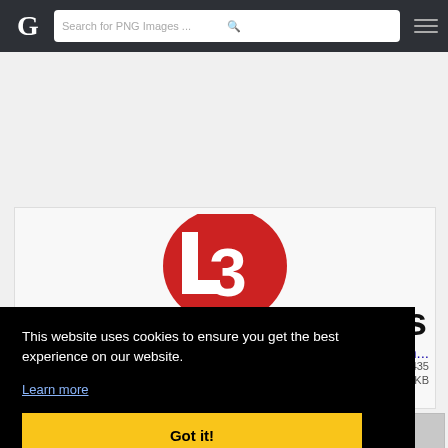G | Search for PNG Images ...
[Figure (logo): Partial L3 logo — red circle with white number 3, partially visible]
ns
an...
0×435
29 KB
[Figure (photo): Bottom row thumbnail images, partially visible]
This website uses cookies to ensure you get the best experience on our website.
Learn more
Got it!